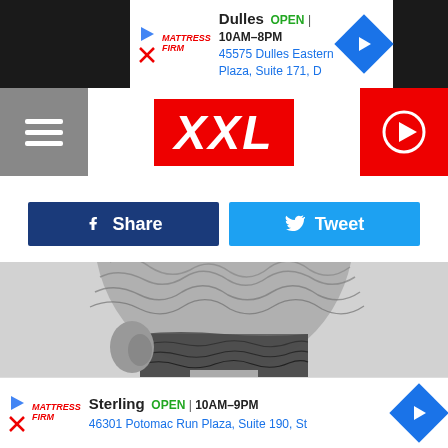[Figure (screenshot): Top advertisement banner: Dulles store, OPEN 10AM-8PM, 45575 Dulles Eastern Plaza, Suite 171, D. With Mattress Firm logo and navigation arrow. Black bars on sides.]
[Figure (logo): XXL magazine logo in red box with menu hamburger icon on left and red play button on right]
[Figure (other): Facebook Share button (dark blue) and Twitter Tweet button (sky blue) side by side]
[Figure (photo): Black and white photo showing the back of a person's head with detailed wavy hair texture and tattoos on neck]
[Figure (screenshot): Bottom advertisement banner: Sterling store, OPEN 10AM-9PM, 46301 Potomac Run Plaza, Suite 190, St. With Mattress Firm logo and navigation arrow.]